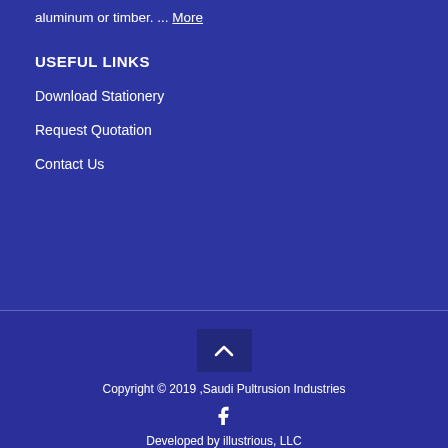aluminum or timber. ... More
USEFUL LINKS
Download Stationery
Request Quotation
Contact Us
Copyright © 2019 ,Saudi Pultrusion Industries
Developed by illustrious, LLC